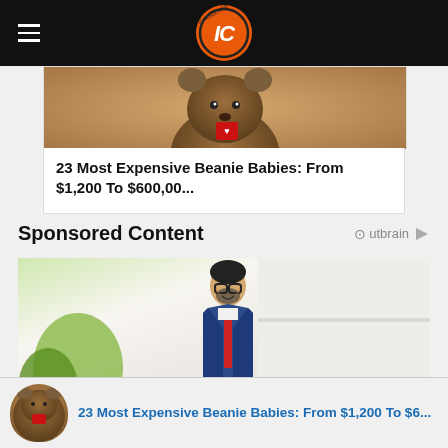IC (logo navigation bar)
[Figure (photo): Beanie Baby stuffed bear toy with red heart tag, brown fur, partial view from above]
23 Most Expensive Beanie Babies: From $1,200 To $600,00...
Sponsored Content
[Figure (photo): Smiling man in blue suit with glasses and red tie, standing outside a modern building with greenery in background]
[Figure (photo): Beanie Baby stuffed bear toy thumbnail with red heart tag]
23 Most Expensive Beanie Babies: From $1,200 To $6...